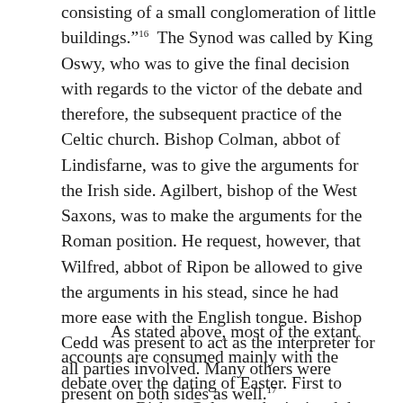consisting of a small conglomeration of little buildings." 16  The Synod was called by King Oswy, who was to give the final decision with regards to the victor of the debate and therefore, the subsequent practice of the Celtic church. Bishop Colman, abbot of Lindisfarne, was to give the arguments for the Irish side. Agilbert, bishop of the West Saxons, was to make the arguments for the Roman position. He request, however, that Wilfred, abbot of Ripon be allowed to give the arguments in his stead, since he had more ease with the English tongue. Bishop Cedd was present to act as the interpreter for all parties involved. Many others were present on both sides as well. 17
As stated above, most of the extant accounts are consumed mainly with the debate over the dating of Easter. First to argue was Bishop Colman who insisted that the Celtic tradition could be traced back to the apostle John, without doubt. To this Wilfred replied that the Roman tradition had been handed down from both